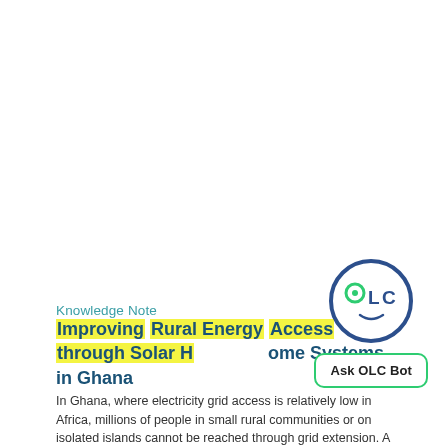Knowledge Note
Improving Rural Energy Access through Solar Home Systems in Ghana
In Ghana, where electricity grid access is relatively low in Africa, millions of people in small rural communities or on isolated islands cannot be reached through grid extension. A
[Figure (logo): OLC circular logo with 'OLC' text and a smiley face inside a dark blue circle outline, with a green inner circle for the 'O']